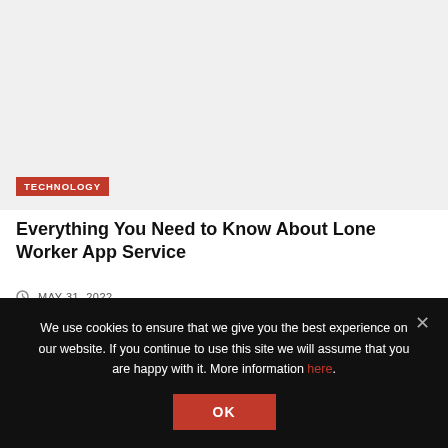[Figure (photo): Light gray image placeholder area for article thumbnail]
TECHNOLOGY
Everything You Need to Know About Lone Worker App Service
MAY 31, 2022
We use cookies to ensure that we give you the best experience on our website. If you continue to use this site we will assume that you are happy with it. More information here.